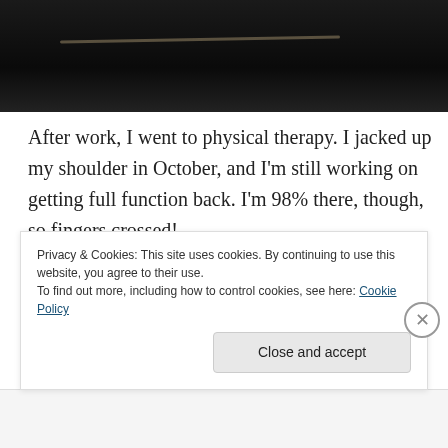[Figure (photo): Dark photo, nearly black, with a faint diagonal line suggesting a surface or room interior in low light.]
After work, I went to physical therapy. I jacked up my shoulder in October, and I'm still working on getting full function back. I'm 98% there, though, so fingers crossed!
Got put through my paces for an hour and then went home and had tuna mixed with mayo and onions for dinner, served on slices of American cheese. Such is the life of the Atkins dieter. Of COURSE Pixel had to have a bit of
Privacy & Cookies: This site uses cookies. By continuing to use this website, you agree to their use.
To find out more, including how to control cookies, see here: Cookie Policy
Close and accept